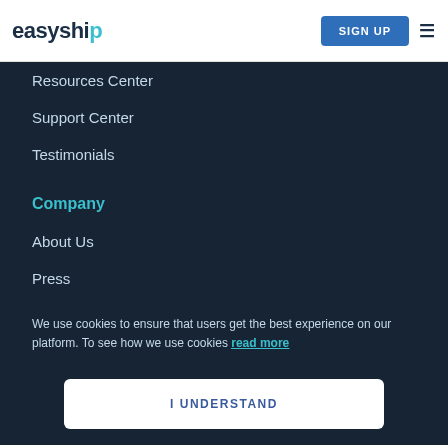easyship | SIGN UP
Resources Center
Support Center
Testimonials
Company
About Us
Press
We use cookies to ensure that users get the best experience on our platform. To see how we use cookies read more
I UNDERSTAND